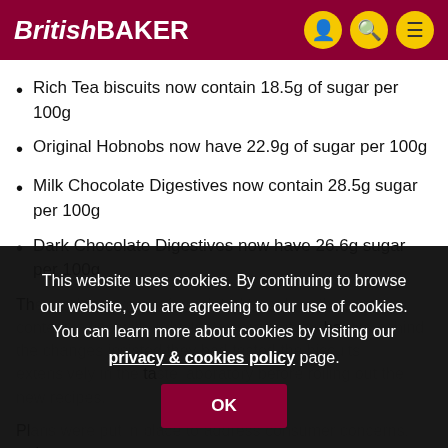BritishBAKER
Rich Tea biscuits now contain 18.5g of sugar per 100g
Original Hobnobs now have 22.9g of sugar per 100g
Milk Chocolate Digestives now contain 28.5g sugar per 100g
Dark Chocolate Digestives now have 26.6g sugar per 100g
Th... ba... ta...
This website uses cookies. By continuing to browse our website, you are agreeing to our use of cookies. You can learn more about cookies by visiting our privacy & cookies policy page.
Pl... th hu...
in the laboratory to ensure they tasted the same as when they were dunked.